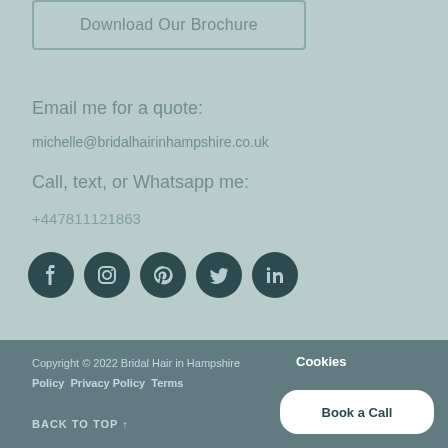Download Our Brochure
Email me for a quote:
michelle@bridalhairinhampshire.co.uk
Call, text, or Whatsapp me:
+447811121863
[Figure (illustration): Row of 5 social media icon circles (Facebook, Instagram, Pinterest, Twitter, LinkedIn) in dark teal color]
Copyright © 2022 Bridal Hair in Hampshire   Cookies Policy   Privacy Policy   Terms
BACK TO TOP ↑
Book a Call